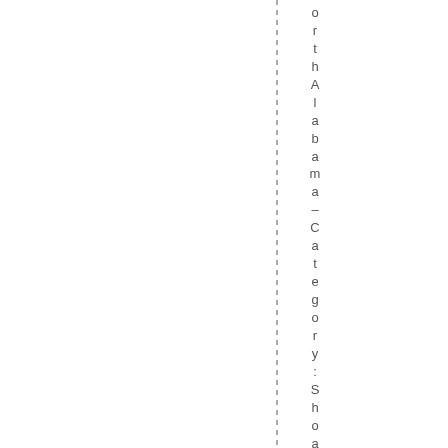orth Alabama - Category: Shoal